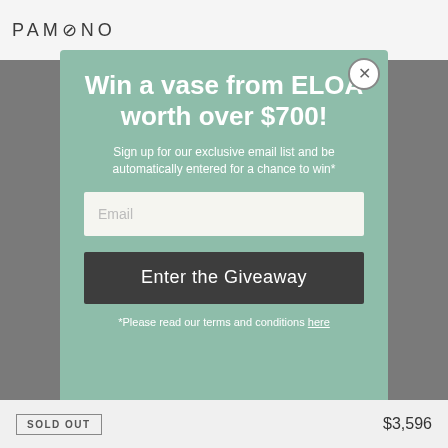PAMONO
Win a vase from ELOA worth over $700!
Sign up for our exclusive email list and be automatically entered for a chance to win*
Email
Enter the Giveaway
*Please read our terms and conditions here
SOLD OUT  $3,596